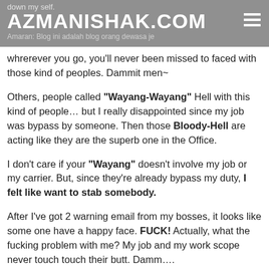down my self. AZMANISHAK.COM Have you over heard "Mulot Longkang" ??? Yesss... Amaran: Blog ini adalah blog orang dewasa je
whrerever you go, you'll never been missed to faced with those kind of peoples. Dammit men~
Others, people called "Wayang-Wayang" Hell with this kind of people… but I really disappointed since my job was bypass by someone. Then those Bloody-Hell are acting like they are the superb one in the Office.
I don't care if your "Wayang" doesn't involve my job or my carrier. But, since they're already bypass my duty, I felt like want to stab somebody.
After I've got 2 warning email from my bosses, it looks like some one have a happy face. FUCK! Actually, what the fucking problem with me? My job and my work scope never touch touch their butt. Damm…. DAAAMMMMMIITTT…